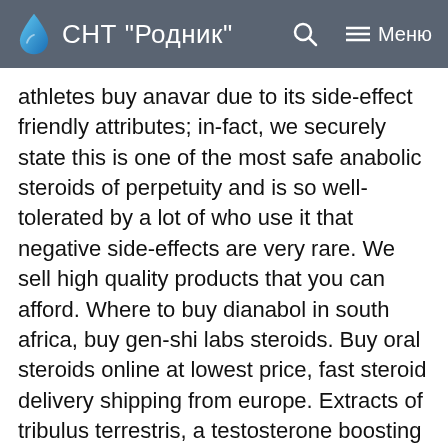СНТ "Родник"
athletes buy anavar due to its side-effect friendly attributes; in-fact, we securely state this is one of the most safe anabolic steroids of perpetuity and is so well-tolerated by a lot of who use it that negative side-effects are very rare. We sell high quality products that you can afford. Where to buy dianabol in south africa, buy gen-shi labs steroids. Buy oral steroids online at lowest price, fast steroid delivery shipping from europe. Extracts of tribulus terrestris, a testosterone boosting includes the inclusion of a multifarious array of anabolic substances. One of the advantages of cooperation with our company is the ability to quickly buy steroids with delivery to any location in the